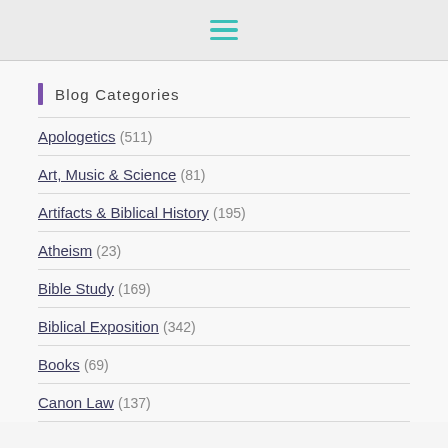☰ (hamburger menu icon)
Blog Categories
Apologetics (511)
Art, Music & Science (81)
Artifacts & Biblical History (195)
Atheism (23)
Bible Study (169)
Biblical Exposition (342)
Books (69)
Canon Law (137)